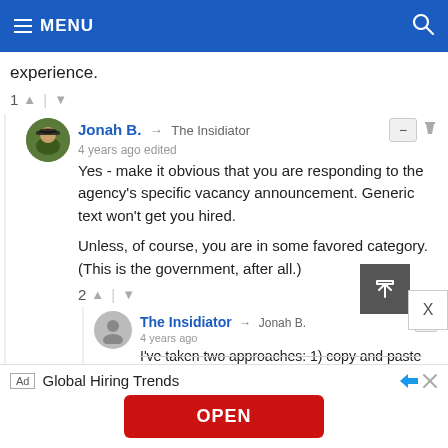MENU
experience.
1 ▲ | ▼
Jonah B. → The Insidiator
4 years ago edited

Yes - make it obvious that you are responding to the agency's specific vacancy announcement. Generic text won't get you hired.

Unless, of course, you are in some favored category. (This is the government, after all.)
2 ▲ | ▼
The Insidiator → Jonah B.
4 years ago

I've taken two approaches: 1) copy and paste with
Ad  Global Hiring Trends
OPEN